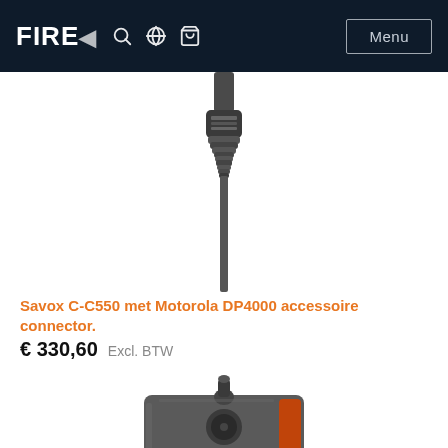FIRE  🔍  🌐  🛒  Menu
[Figure (photo): Close-up photograph of a black cable connector, showing a multi-pin accessory connector (Motorola DP4000 type) with ribbed strain relief, on white background.]
Savox C-C550 met Motorola DP4000 accessoire connector.
€ 330,60   Excl. BTW
[Figure (photo): Photograph of the bottom portion of a rugged two-way radio device (Motorola DP4000 series) showing the top antenna connector, orange/red side panel trim, and circular speaker grille, on white background.]